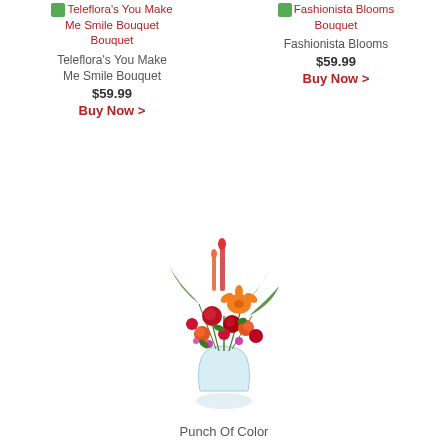[Figure (other): Product listing for Teleflora's You Make Me Smile Bouquet with icon, name link in red, product name in gray, price $59.99 and Buy Now link in red]
[Figure (other): Product listing for Fashionista Blooms Bouquet with icon, name link in red, product name in gray, price $59.99 and Buy Now link in red]
[Figure (photo): Photo of a Punch Of Color flower bouquet in a glass vase with orange lilies, red roses, orange roses, red carnations, pink flowers, snapdragons, and green fern foliage]
Punch Of Color